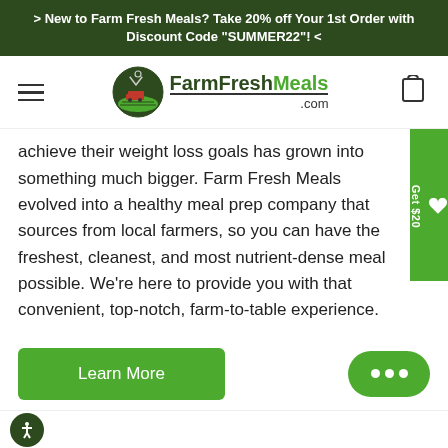> New to Farm Fresh Meals? Take 20% off Your 1st Order with Discount Code "SUMMER22"! <
[Figure (logo): FarmFreshMeals.com logo with circular farm scene emblem and green brand name text]
achieve their weight loss goals has grown into something much bigger. Farm Fresh Meals evolved into a healthy meal prep company that sources from local farmers, so you can have the freshest, cleanest, and most nutrient-dense meals possible. We're here to provide you with that convenient, top-notch, farm-to-table experience.
Learn More